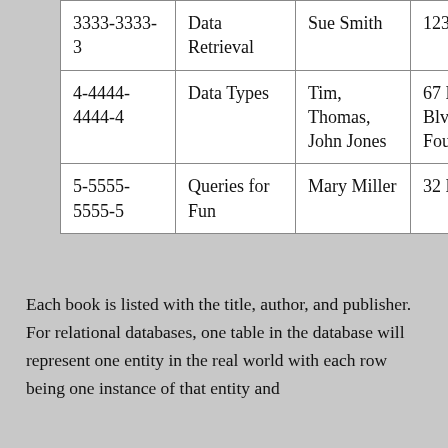| 3333-3333-3 | Data Retrieval | Sue Smith | 123 Street |
| 4-4444-4444-4 | Data Types | Tim, Thomas, John Jones | 67 E Bird Blvd, 44 Fourth Ave |
| 5-5555-5555-5 | Queries for Fun | Mary Miller | 32 Launa Dr |
Each book is listed with the title, author, and publisher. For relational databases, one table in the database will represent one entity in the real world with each row being one instance of that entity and